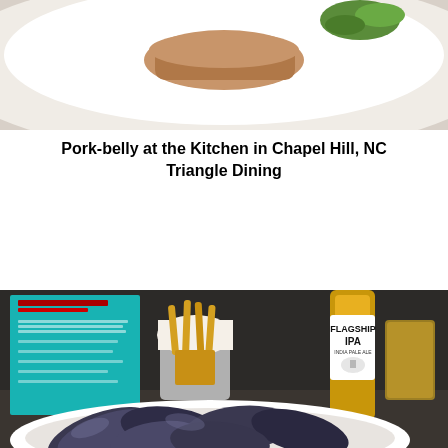[Figure (photo): Top portion of a white plate with food (pork-belly dish), cropped at the top of the page]
Pork-belly at the Kitchen in Chapel Hill, NC
Triangle Dining
[Figure (photo): Restaurant scene showing a basket of french fries in white paper in a metal cup, a Flagship IPA beer bottle and glass, a teal informational sign in the background, and a white plate full of mussels in the foreground]